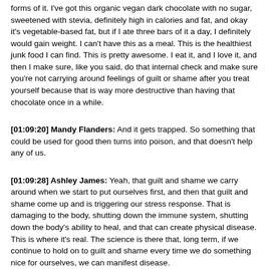forms of it. I've got this organic vegan dark chocolate with no sugar, sweetened with stevia, definitely high in calories and fat, and okay it's vegetable-based fat, but if I ate three bars of it a day, I definitely would gain weight. I can't have this as a meal. This is the healthiest junk food I can find. This is pretty awesome. I eat it, and I love it, and then I make sure, like you said, do that internal check and make sure you're not carrying around feelings of guilt or shame after you treat yourself because that is way more destructive than having that chocolate once in a while.
[01:09:20] Mandy Flanders: And it gets trapped. So something that could be used for good then turns into poison, and that doesn't help any of us.
[01:09:28] Ashley James: Yeah, that guilt and shame we carry around when we start to put ourselves first, and then that guilt and shame come up and is triggering our stress response. That is damaging to the body, shutting down the immune system, shutting down the body's ability to heal, and that can create physical disease. This is where it's real. The science is there that, long term, if we continue to hold on to guilt and shame every time we do something nice for ourselves, we can manifest disease.
[01:10:04] Mandy Flanders: And then we can develop almost like an allergic reaction to self-care. There's like an energetic component too that when we do